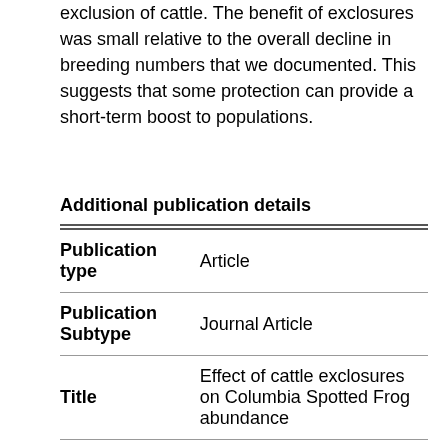exclusion of cattle. The benefit of exclosures was small relative to the overall decline in breeding numbers that we documented. This suggests that some protection can provide a short-term boost to populations.
Additional publication details
| Field | Value |
| --- | --- |
| Publication type | Article |
| Publication Subtype | Journal Article |
| Title | Effect of cattle exclosures on Columbia Spotted Frog abundance |
| Series title | Wetlands Ecology and |